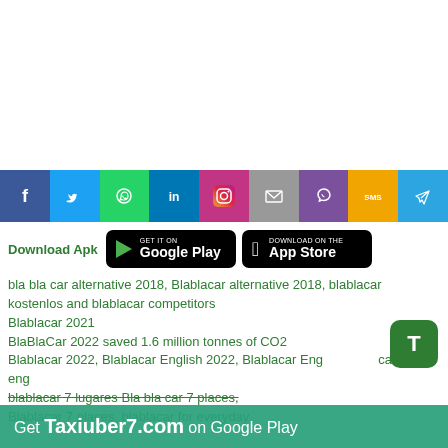[Figure (infographic): Social media sharing bar with icons: Facebook, Twitter, WhatsApp, LinkedIn, Instagram, Email, Viber, SMS, Telegram]
Download Apk
[Figure (infographic): GET IT ON Google Play button (black rounded rectangle)]
[Figure (infographic): Download on the App Store button (black rounded rectangle)]
bla bla car alternative 2018, Blablacar alternative 2018, blablacar kostenlos and blablacar competitors
Blablacar 2021
BlaBlaCar 2022 saved 1.6 million tonnes of CO2
Blablacar 2022, Blablacar English 2022, Blablacar Eng car eng
blablacar 7 lugares Bla bla car 7 places,
Blablacar 7 places, blablacar for everyday
[Figure (infographic): Green banner at bottom: Get Taxiuber7.com on Google Play]
[Figure (infographic): Green T badge in bottom right]